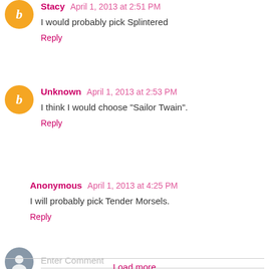Stacy April 1, 2013 at 2:51 PM
I would probably pick Splintered
Reply
Unknown April 1, 2013 at 2:53 PM
I think I would choose "Sailor Twain".
Reply
Anonymous April 1, 2013 at 4:25 PM
I will probably pick Tender Morsels.
Reply
Enter Comment
Load more